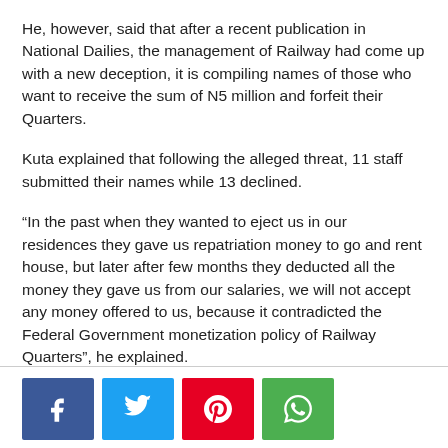He, however, said that after a recent publication in National Dailies, the management of Railway had come up with a new deception, it is compiling names of those who want to receive the sum of N5 million and forfeit their Quarters.
Kuta explained that following the alleged threat, 11 staff submitted their names while 13 declined.
“In the past when they wanted to eject us in our residences they gave us repatriation money to go and rent house, but later after few months they deducted all the money they gave us from our salaries, we will not accept any money offered to us, because it contradicted the Federal Government monetization policy of Railway Quarters”, he explained.
[Figure (other): Social media share buttons: Facebook (blue), Twitter (light blue), Pinterest (red), WhatsApp (green)]